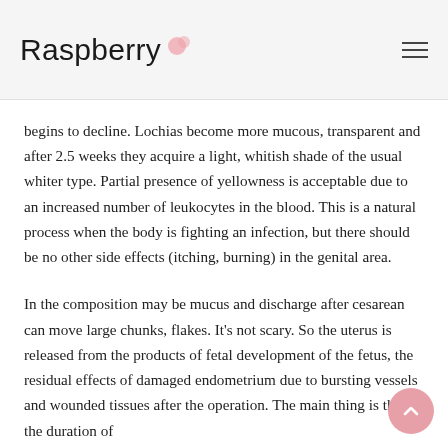Raspberry
begins to decline. Lochias become more mucous, transparent and after 2.5 weeks they acquire a light, whitish shade of the usual whiter type. Partial presence of yellowness is acceptable due to an increased number of leukocytes in the blood. This is a natural process when the body is fighting an infection, but there should be no other side effects (itching, burning) in the genital area.
In the composition may be mucus and discharge after cesarean can move large chunks, flakes. It's not scary. So the uterus is released from the products of fetal development of the fetus, the residual effects of damaged endometrium due to bursting vessels and wounded tissues after the operation. The main thing is that the duration of